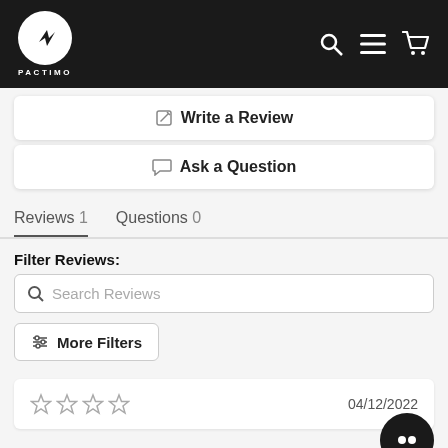PACTIMO
Write a Review
Ask a Question
Reviews 1   Questions 0
Filter Reviews:
Search Reviews
More Filters
04/12/2022